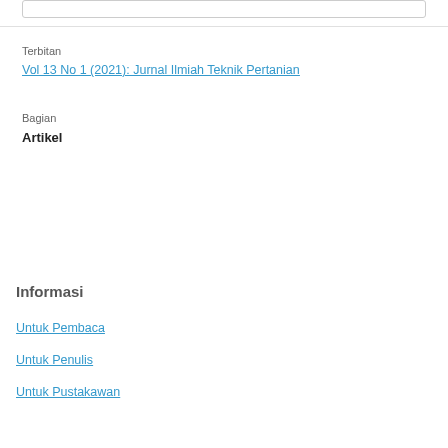Terbitan
Vol 13 No 1 (2021): Jurnal Ilmiah Teknik Pertanian
Bagian
Artikel
Informasi
Untuk Pembaca
Untuk Penulis
Untuk Pustakawan